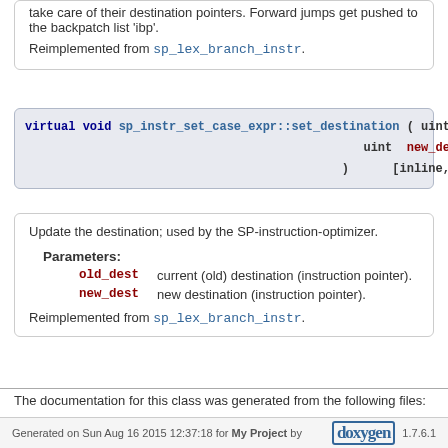take care of their destination pointers. Forward jumps get pushed to the backpatch list 'ibp'.
Reimplemented from sp_lex_branch_instr.
[Figure (screenshot): Code declaration: virtual void sp_instr_set_case_expr::set_destination ( uint old_dest, uint new_dest ) [inline, ...]]
Update the destination; used by the SP-instruction-optimizer.
Parameters:
old_dest   current (old) destination (instruction pointer).
new_dest   new destination (instruction pointer).
Reimplemented from sp_lex_branch_instr.
The documentation for this class was generated from the following files:
sp_instr.h
sp_instr.cc
Generated on Sun Aug 16 2015 12:37:18 for My Project by doxygen 1.7.6.1